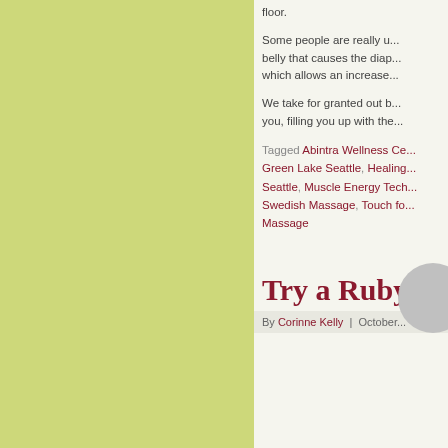floor.
Some people are really u... belly that causes the diap... which allows an increase...
We take for granted out b... you, filling you up with the...
Tagged Abintra Wellness Ce... Green Lake Seattle, Healing... Seattle, Muscle Energy Tech... Swedish Massage, Touch fo... Massage
Try a Ruby R
By Corinne Kelly | October...